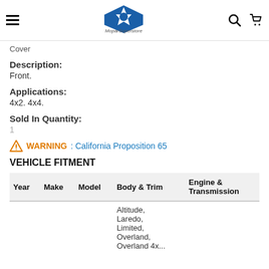MoparSuperstore
Cover
Description:
Front.
Applications:
4x2. 4x4.
Sold In Quantity:
1
WARNING: California Proposition 65
VEHICLE FITMENT
| Year | Make | Model | Body & Trim | Engine & Transmission |
| --- | --- | --- | --- | --- |
|  |  |  | Altitude, Laredo, Limited, Overland, Overland 4x... |  |